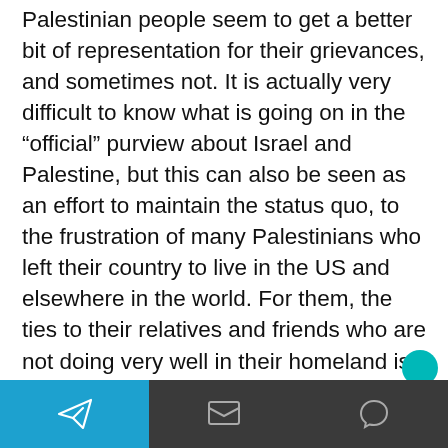Palestinian people seem to get a better bit of representation for their grievances, and sometimes not. It is actually very difficult to know what is going on in the “official” purview about Israel and Palestine, but this can also be seen as an effort to maintain the status quo, to the frustration of many Palestinians who left their country to live in the US and elsewhere in the world. For them, the ties to their relatives and friends who are not doing very well in their homeland is a source of great bitterness and resentment, though, to be sure, the lives of the Palestinians in the United States is often very much the success story.
28